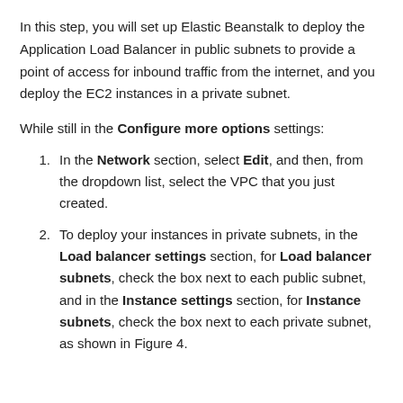In this step, you will set up Elastic Beanstalk to deploy the Application Load Balancer in public subnets to provide a point of access for inbound traffic from the internet, and you deploy the EC2 instances in a private subnet.
While still in the Configure more options settings:
In the Network section, select Edit, and then, from the dropdown list, select the VPC that you just created.
To deploy your instances in private subnets, in the Load balancer settings section, for Load balancer subnets, check the box next to each public subnet, and in the Instance settings section, for Instance subnets, check the box next to each private subnet, as shown in Figure 4.